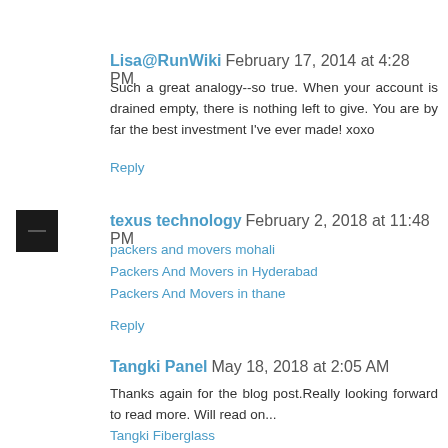Lisa@RunWiki February 17, 2014 at 4:28 PM
Such a great analogy--so true. When your account is drained empty, there is nothing left to give. You are by far the best investment I've ever made! xoxo
Reply
texus technology February 2, 2018 at 11:48 PM
packers and movers mohali
Packers And Movers in Hyderabad
Packers And Movers in thane
Reply
Tangki Panel May 18, 2018 at 2:05 AM
Thanks again for the blog post.Really looking forward to read more. Will read on...
Tangki Fiberglass